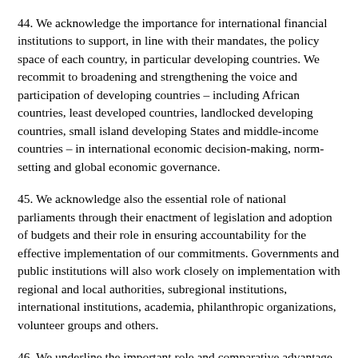44. We acknowledge the importance for international financial institutions to support, in line with their mandates, the policy space of each country, in particular developing countries. We recommit to broadening and strengthening the voice and participation of developing countries – including African countries, least developed countries, landlocked developing countries, small island developing States and middle-income countries – in international economic decision-making, norm-setting and global economic governance.
45. We acknowledge also the essential role of national parliaments through their enactment of legislation and adoption of budgets and their role in ensuring accountability for the effective implementation of our commitments. Governments and public institutions will also work closely on implementation with regional and local authorities, subregional institutions, international institutions, academia, philanthropic organizations, volunteer groups and others.
46. We underline the important role and comparative advantage of an adequately resourced, relevant, coherent, efficient and effective United Nations system in supporting the achievement of the Sustainable Development Goals and sustainable development. While stressing the importance of strengthened national ownership and leadership at the country level, we express our support for the